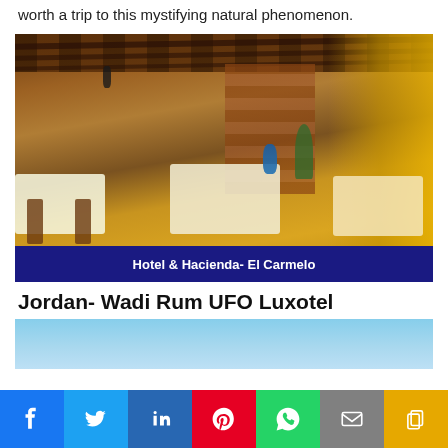worth a trip to this mystifying natural phenomenon.
[Figure (photo): Interior of Hotel & Hacienda El Carmelo showing rustic wooden dining area with tables covered in white tablecloths, wooden chairs, and a brick/wood ceiling structure. A blue caption bar at bottom reads 'Hotel & Hacienda- El Carmelo'.]
Hotel & Hacienda- El Carmelo
Jordan- Wadi Rum UFO Luxotel
[Figure (photo): Partial view of sky/outdoor scene, blue sky visible, appears to be beginning of a photo of the Wadi Rum UFO Luxotel.]
Social share bar: Facebook, Twitter, LinkedIn, Pinterest, WhatsApp, Email, Copy